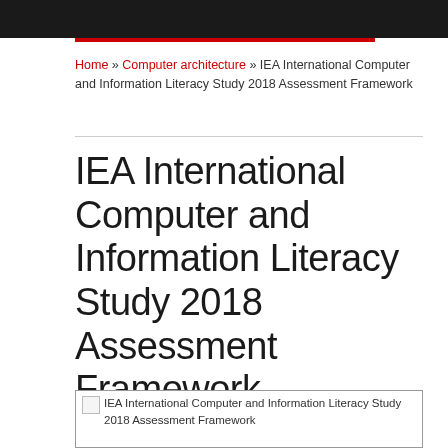Home » Computer architecture » IEA International Computer and Information Literacy Study 2018 Assessment Framework
IEA International Computer and Information Literacy Study 2018 Assessment Framework
[Figure (illustration): Book cover image placeholder for IEA International Computer and Information Literacy Study 2018 Assessment Framework]